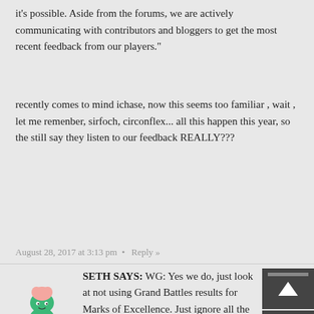it's possible. Aside from the forums, we are actively communicating with contributors and bloggers to get the most recent feedback from our players."
recently comes to mind ichase, now this seems too familiar , wait , let me remenber, sirfoch, circonflex... all this happen this year, so the still say they listen to our feedback REALLY???
August 28, 2017 at 3:13 pm  •  Reply »
SETH SAYS: WG: Yes we do, just look at not using Grand Battles results for Marks of Excellence. Just ignore all the other criticism, complaints and suggestions we ignore.
August 28, 2017 at 5:48 ...  Reply »